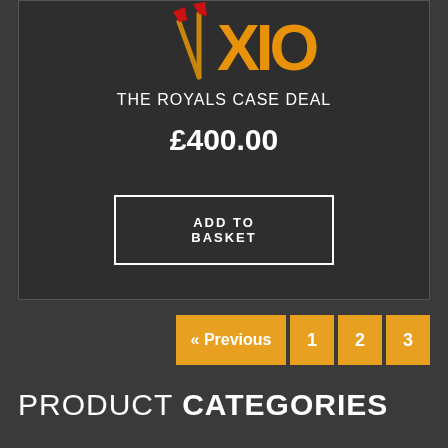[Figure (logo): XIO brand logo with stylized red and gold design, partially cropped at top]
THE ROYALS CASE DEAL
£400.00
ADD TO BASKET
« Previous 1 2 3
PRODUCT CATEGORIES